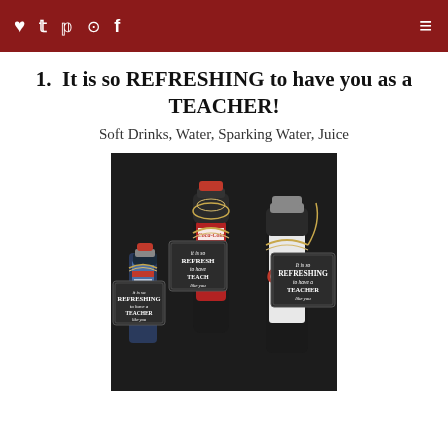♥ 𝕥 𝕡 ⊙ f  ☰
1. It is so REFRESHING to have you as a TEACHER!
Soft Drinks, Water, Sparking Water, Juice
[Figure (photo): Three small beverage bottles (sparkling water, Coca-Cola, and Coke) each decorated with a gold ribbon and a chalkboard-style gift tag reading 'It is so REFRESHING to have a TEACHER like you']